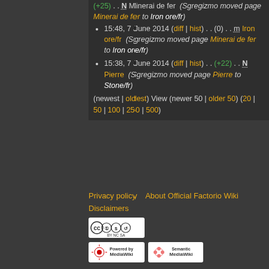(+25) . . N Minerai de fer (Sgregizmo moved page Minerai de fer to Iron ore/fr)
15:48, 7 June 2014 (diff | hist) . . (0) . . m Iron ore/fr (Sgregizmo moved page Minerai de fer to Iron ore/fr)
15:38, 7 June 2014 (diff | hist) . . (+22) . . N Pierre (Sgregizmo moved page Pierre to Stone/fr)
(newest | oldest) View (newer 50 | older 50) (20 | 50 | 100 | 250 | 500)
Privacy policy   About Official Factorio Wiki
Disclaimers
[Figure (logo): CC BY-NC-SA license badge]
[Figure (logo): Powered by MediaWiki badge]
[Figure (logo): Semantic MediaWiki badge]